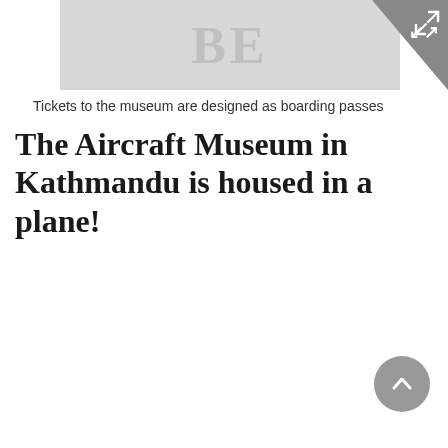[Figure (photo): Partially visible image with letters 'BE' or 'BE' watermark on a light gray background, with an expand/fullscreen button in the top-right corner (dark gray triangle with arrows icon)]
Tickets to the museum are designed as boarding passes
The Aircraft Museum in Kathmandu is housed in a plane!